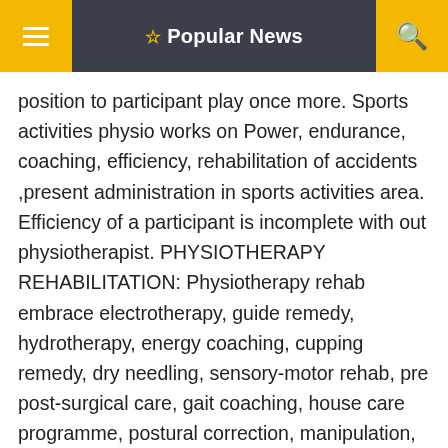☆ Popular News
position to participant play once more. Sports activities physio works on Power, endurance, coaching, efficiency, rehabilitation of accidents ,present administration in sports activities area. Efficiency of a participant is incomplete with out physiotherapist. PHYSIOTHERAPY REHABILITATION: Physiotherapy rehab embrace electrotherapy, guide remedy, hydrotherapy, energy coaching, cupping remedy, dry needling, sensory-motor rehab, pre post-surgical care, gait coaching, house care programme, postural correction, manipulation, respiration workouts, rest coaching, taping and so on. CEREBRAL PALSY: Cerebral palsy is a broad time period.This situation could be as a consequence of natal, prenatal and postnatal causes. Physiotherapist assesses the kind